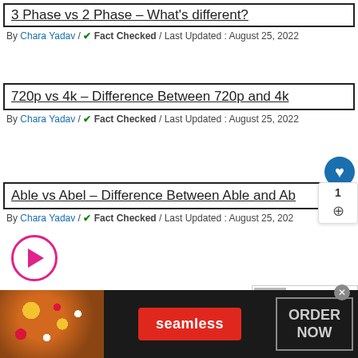3 Phase vs 2 Phase – What's different?
By Chara Yadav / ✔ Fact Checked / Last Updated : August 25, 2022
720p vs 4k – Difference Between 720p and 4k
By Chara Yadav / ✔ Fact Checked / Last Updated : August 25, 2022
Able vs Abel – Difference Between Able and Ab…
By Chara Yadav / ✔ Fact Checked / Last Updated : August 25, 202…
Airtel vs Jio – Difference Between Air…
[Figure (screenshot): Seamless food delivery advertisement banner with pizza image, red Seamless button, and ORDER NOW box on dark background]
[Figure (infographic): WHAT'S NEXT arrow with post_title label and thumbnail overlay]
[Figure (infographic): Blue heart/like circular button overlay]
[Figure (infographic): Floating share panel showing count 1 and share icon]